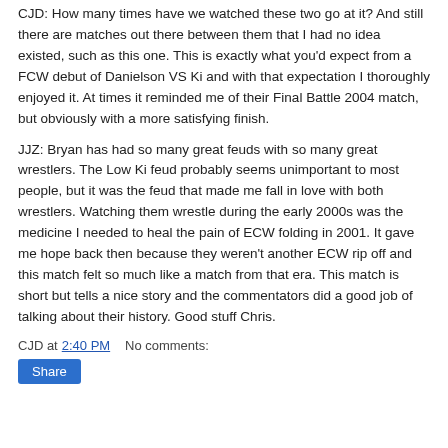CJD: How many times have we watched these two go at it? And still there are matches out there between them that I had no idea existed, such as this one. This is exactly what you'd expect from a FCW debut of Danielson VS Ki and with that expectation I thoroughly enjoyed it. At times it reminded me of their Final Battle 2004 match, but obviously with a more satisfying finish.
JJZ: Bryan has had so many great feuds with so many great wrestlers. The Low Ki feud probably seems unimportant to most people, but it was the feud that made me fall in love with both wrestlers. Watching them wrestle during the early 2000s was the medicine I needed to heal the pain of ECW folding in 2001. It gave me hope back then because they weren't another ECW rip off and this match felt so much like a match from that era. This match is short but tells a nice story and the commentators did a good job of talking about their history. Good stuff Chris.
CJD at 2:40 PM   No comments:
Share